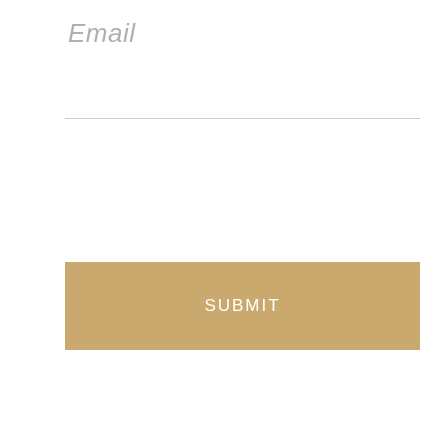Email
[Figure (other): Horizontal divider line below email input field]
SUBMIT